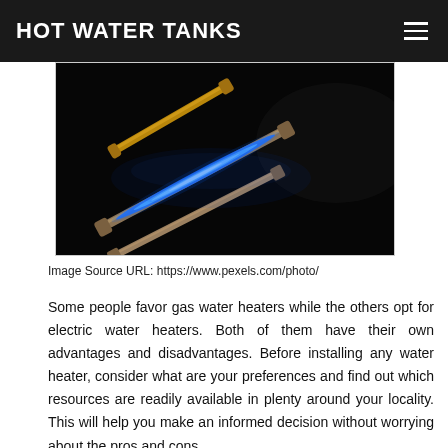HOT WATER TANKS
[Figure (photo): Close-up photo of gas burners with blue flames on a dark black background, diagonal composition showing metallic tubes with glowing blue flame]
Image Source URL: https://www.pexels.com/photo/
Some people favor gas water heaters while the others opt for electric water heaters. Both of them have their own advantages and disadvantages. Before installing any water heater, consider what are your preferences and find out which resources are readily available in plenty around your locality. This will help you make an informed decision without worrying about the pros and cons.